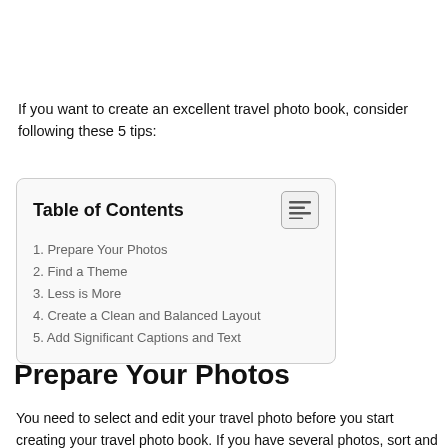If you want to create an excellent travel photo book, consider following these 5 tips:
| 1. Prepare Your Photos |
| 2. Find a Theme |
| 3. Less is More |
| 4. Create a Clean and Balanced Layout |
| 5. Add Significant Captions and Text |
Prepare Your Photos
You need to select and edit your travel photo before you start creating your travel photo book. If you have several photos, sort and edit them